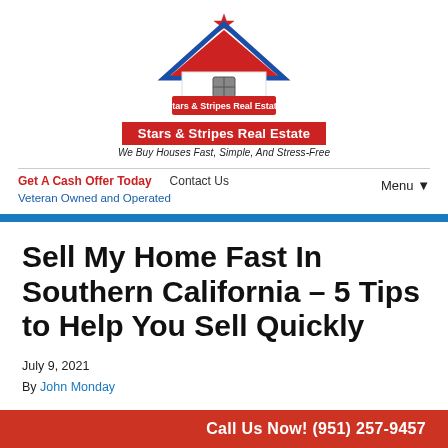[Figure (logo): Stars & Stripes Real Estate logo: house shape with red roof, blue outline, white center with window, red star on top, red banner with white text 'Stars & Stripes Real Estate', italic tagline 'We Buy Houses Fast, Simple, And Stress-Free']
Get A Cash Offer Today   Contact Us   Menu▼   Veteran Owned and Operated
Sell My Home Fast In Southern California – 5 Tips to Help You Sell Quickly
July 9, 2021
By John Monday
Call Us Now! (951) 257-9457